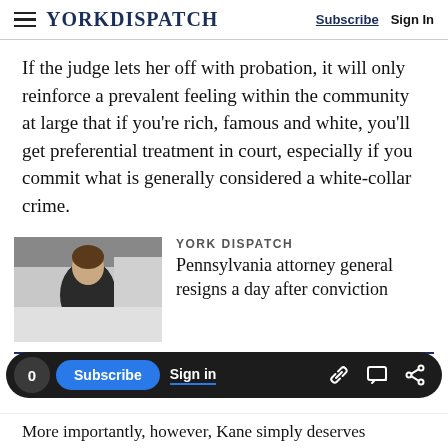YORK DISPATCH | Subscribe | Sign In
If the judge lets her off with probation, it will only reinforce a prevalent feeling within the community at large that if you're rich, famous and white, you'll get preferential treatment in court, especially if you commit what is generally considered a white-collar crime.
[Figure (photo): Photo of a woman in a dark outfit, associated with a York Dispatch article about Pennsylvania attorney general resigning after conviction]
YORK DISPATCH
Pennsylvania attorney general resigns a day after conviction
More importantly, however, Kane simply deserves